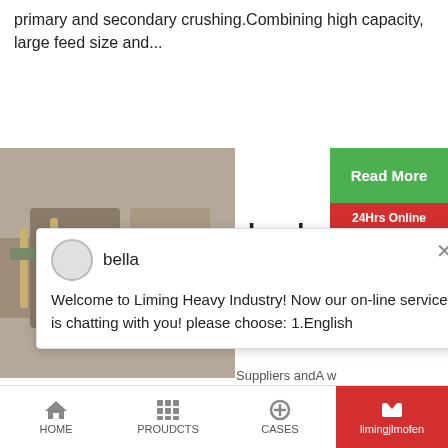primary and secondary crushing.Combining high capacity, large feed size and...
[Figure (photo): Industrial crushing/mining equipment with hoses and machinery on a job site]
hard
[Figure (screenshot): Green Read More button and red 24Hrs Online button on right sidebar]
[Figure (screenshot): Chat popup with avatar named bella, message: Welcome to Liming Heavy Industry! Now our on-line service is chatting with you! please choose: 1.English]
Suppliers andA w
hard ore crusher options are available to you, suc can also choose from indonesia. 27 Division, mirp Email: [email protected] Careers; Help Desk; Logi Services 555 666 99 00. Add to ...
[Figure (photo): Portrait photo of person on right side]
[Figure (infographic): Blue circle with number 1, Need qu & suggestion? text, Chat Now button, Enquiry button, limingjlmofen button]
HOME   PROUDCTS   CASES   limingjlmofen